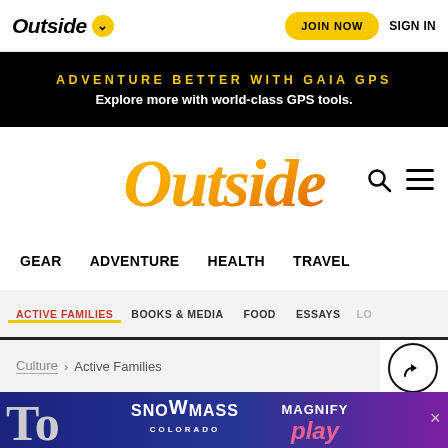Outside ▾   JOIN NOW   SIGN IN
ADVENTURE BETTER WITH GAIA GPS
Explore more with world-class GPS tools.
[Figure (logo): Outside magazine logo in orange/yellow gradient script font]
GEAR   ADVENTURE   HEALTH   TRAVEL
ACTIVE FAMILIES   BOOKS & MEDIA   FOOD   ESSAYS   LO...
Culture › Active Families
[Figure (infographic): Snowmass Colorado Magnify play advertisement banner]
To...